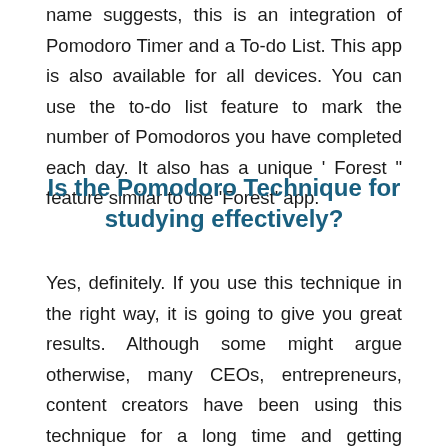name suggests, this is an integration of Pomodoro Timer and a To-do List. This app is also available for all devices. You can use the to-do list feature to mark the number of Pomodoros you have completed each day. It also has a unique ' Forest " feature similar to the 'Forest' app.
Is the Pomodoro Technique for studying effectively?
Yes, definitely. If you use this technique in the right way, it is going to give you great results. Although some might argue otherwise, many CEOs, entrepreneurs, content creators have been using this technique for a long time and getting significant results. Take a look at these 32 tales of people whose lives changed through